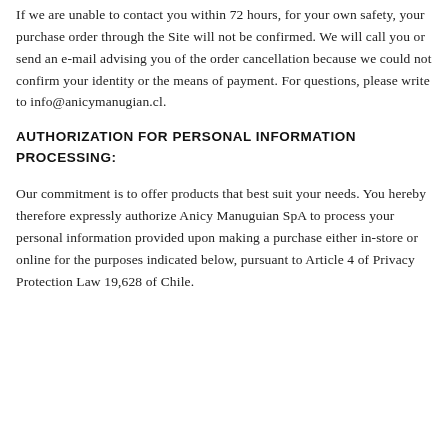If we are unable to contact you within 72 hours, for your own safety, your purchase order through the Site will not be confirmed. We will call you or send an e-mail advising you of the order cancellation because we could not confirm your identity or the means of payment. For questions, please write to info@anicymanugian.cl.
AUTHORIZATION FOR PERSONAL INFORMATION PROCESSING:
Our commitment is to offer products that best suit your needs. You hereby therefore expressly authorize Anicy Manuguian SpA to process your personal information provided upon making a purchase either in-store or online for the purposes indicated below, pursuant to Article 4 of Privacy Protection Law 19,628 of Chile.